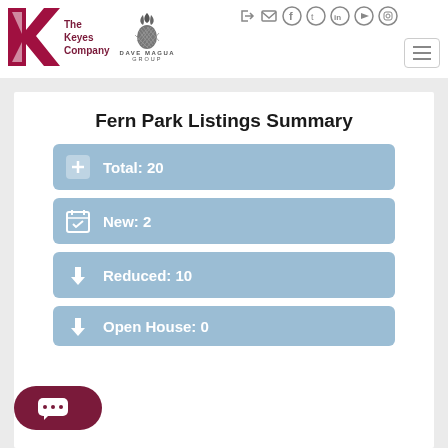[Figure (logo): The Keyes Company logo with red K and maroon text, alongside Dave Magua Group logo with pineapple icon]
[Figure (infographic): Social media icons: login arrow, mail, Facebook, Twitter, LinkedIn, YouTube, Instagram in circles]
[Figure (infographic): Hamburger menu button with three horizontal lines]
Fern Park Listings Summary
Total: 20
New: 2
Reduced: 10
Open House: 0
[Figure (infographic): Chat bubble button (dark maroon rounded pill with speech bubble dots icon)]